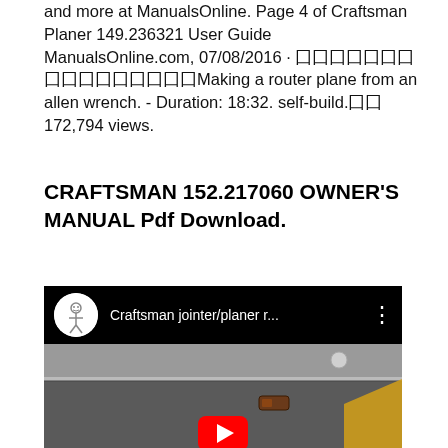and more at ManualsOnline. Page 4 of Craftsman Planer 149.236321 User Guide ManualsOnline.com, 07/08/2016 · 囗囗囗囗囗囗囗囗囗囗囗囗囗囗囗囗Making a router plane from an allen wrench. - Duration: 18:32. self-build.囗囗 172,794 views.
CRAFTSMAN 152.217060 OWNER'S MANUAL Pdf Download.
[Figure (screenshot): YouTube video thumbnail showing a Craftsman jointer/planer machine with a dark top bar containing a circular avatar icon, the text 'Craftsman jointer/planer r...' and a three-dot menu icon. The main image shows a metal woodworking machine surface. A red YouTube play button is partially visible at the bottom.]